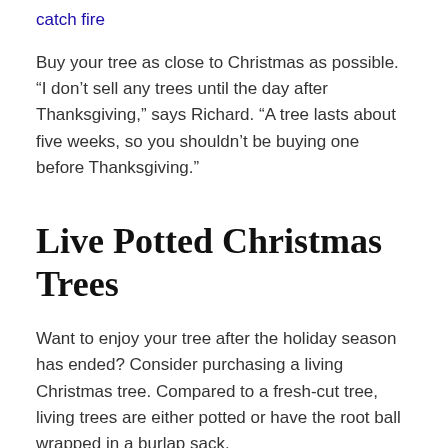catch fire
Buy your tree as close to Christmas as possible. “I don’t sell any trees until the day after Thanksgiving,” says Richard. “A tree lasts about five weeks, so you shouldn’t be buying one before Thanksgiving.”
Live Potted Christmas Trees
Want to enjoy your tree after the holiday season has ended? Consider purchasing a living Christmas tree. Compared to a fresh-cut tree, living trees are either potted or have the root ball wrapped in a burlap sack.
You keep the tree alive by caring for it as you would a